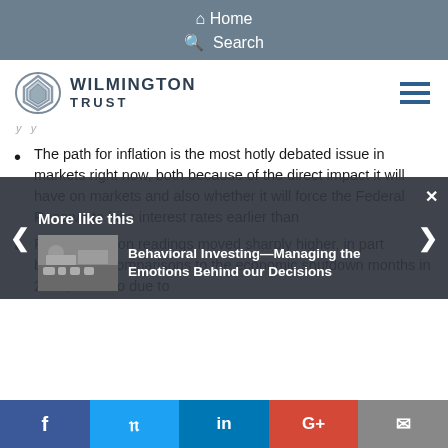Home  Search
[Figure (logo): Wilmington Trust logo with diamond shield icon and text WILMINGTON TRUST]
y  y
The path for inflation is the most hotly debated issue in markets right now, both because of the direct impact it will have on markets and also whether it will force the Federal Reserve to hike interest rates earlier than expected.
Recent inflation readings moved sharply higher, in part because of comparisons to the economic shutdown months in 2020, but also due to
More like this
Behavioral Investing—Managing the Emotions Behind our Decisions
f  Twitter  in  G+  Email